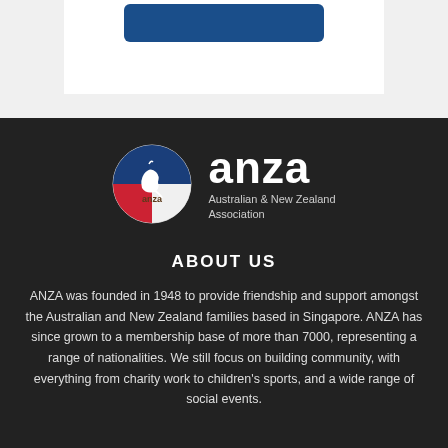[Figure (logo): Partial view of a white box with a blue button/banner at the top, on a light gray background]
[Figure (logo): ANZA (Australian & New Zealand Association) circular logo with kangaroo icon in blue, red, and white, alongside large white 'anza' text and 'Australian & New Zealand Association' subtitle, on dark background]
ABOUT US
ANZA was founded in 1948 to provide friendship and support amongst the Australian and New Zealand families based in Singapore. ANZA has since grown to a membership base of more than 7000, representing a range of nationalities. We still focus on building community, with everything from charity work to children's sports, and a wide range of social events.